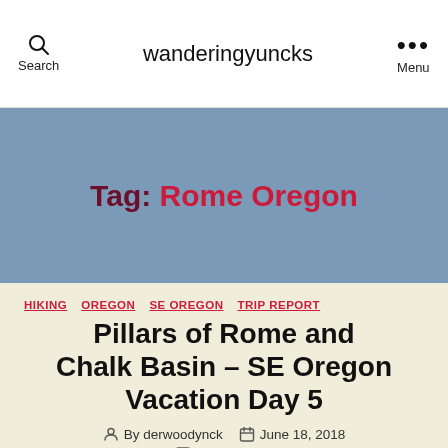wanderingyuncks
Tag: Rome Oregon
HIKING  OREGON  SE OREGON  TRIP REPORT
Pillars of Rome and Chalk Basin – SE Oregon Vacation Day 5
By derwoodynck  June 18, 2018
3 Comments